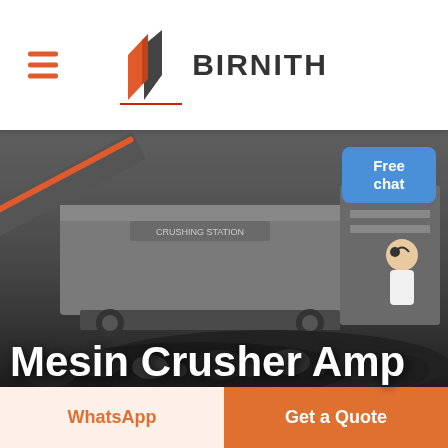[Figure (logo): Birnith company logo with orange building icon and BIRNITH text]
[Figure (photo): Industrial mining crusher machine (mobile crushing station) with dark rocks/coal pile in foreground, dark industrial background]
Mesin Crusher Amp
Free chat
WhatsApp
Get a Quote